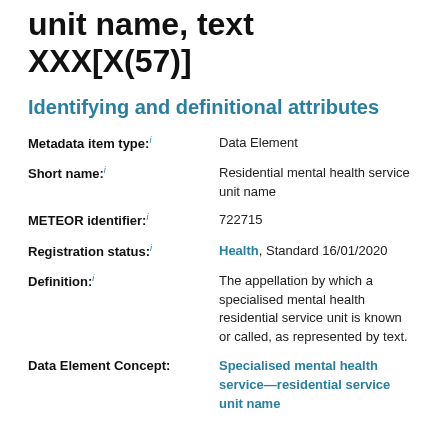unit name, text XXX[X(57)]
Identifying and definitional attributes
| Attribute | Value |
| --- | --- |
| Metadata item type: i | Data Element |
| Short name: i | Residential mental health service unit name |
| METEOR identifier: i | 722715 |
| Registration status: i | Health, Standard 16/01/2020 |
| Definition: i | The appellation by which a specialised mental health residential service unit is known or called, as represented by text. |
| Data Element Concept: | Specialised mental health service—residential service unit name |